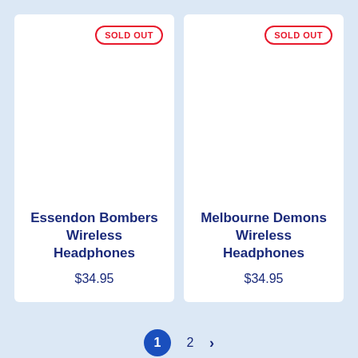[Figure (other): Product card for Essendon Bombers Wireless Headphones showing SOLD OUT badge and white product image area]
Essendon Bombers Wireless Headphones
$34.95
[Figure (other): Product card for Melbourne Demons Wireless Headphones showing SOLD OUT badge and white product image area]
Melbourne Demons Wireless Headphones
$34.95
1 2 >